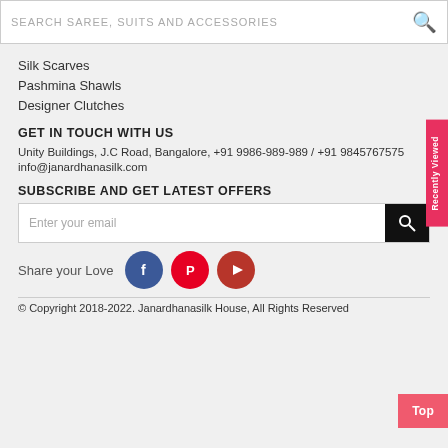SEARCH SAREE, SUITS AND ACCESSORIES
Silk Scarves
Pashmina Shawls
Designer Clutches
GET IN TOUCH WITH US
Unity Buildings, J.C Road, Bangalore, +91 9986-989-989 / +91 9845767575
info@janardhanasilk.com
SUBSCRIBE AND GET LATEST OFFERS
Enter your email
Share your Love
© Copyright 2018-2022. Janardhanasilk House, All Rights Reserved